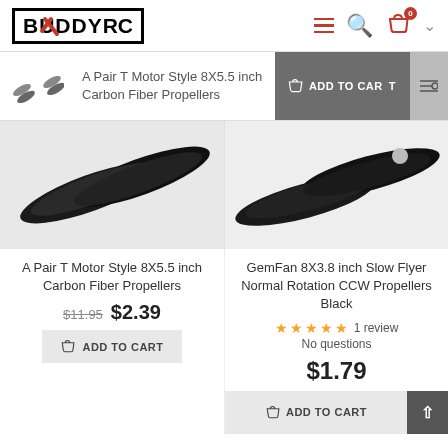[Figure (logo): BuddyRC logo - black bordered box with bold text]
[Figure (photo): Small thumbnail of carbon fiber propellers pair]
A Pair T Motor Style 8X5.5 inch Carbon Fiber Propellers
ADD TO CART (sticky bar button)
[Figure (photo): Close-up of black carbon fiber propeller blades - left product]
[Figure (photo): Close-up of black carbon fiber propeller blades - right product]
A Pair T Motor Style 8X5.5 inch Carbon Fiber Propellers
$11.95  $2.39
ADD TO CART
GemFan 8X3.8 inch Slow Flyer Normal Rotation CCW Propellers Black
1 review
No questions
$1.79
ADD TO CART